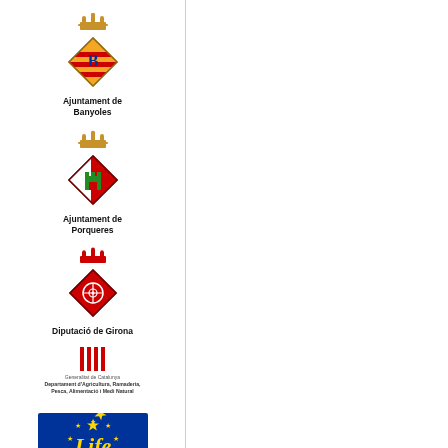[Figure (logo): Ajuntament de Banyoles logo: crown icon and orange/yellow diamond shield with letter B]
Ajuntament de Banyoles
[Figure (logo): Ajuntament de Porqueres logo: crown icon and red/green diamond shield]
Ajuntament de Porqueres
[Figure (logo): Diputació de Girona logo: red crown and red diamond shield with ornamental design]
Diputació de Girona
[Figure (logo): Generalitat de Catalunya - Departament d'Agricultura, Ramaderia, Pesca, Alimentació i Medi Natural logo]
Generalitat de Catalunya
Departament d'Agricultura, Ramaderia,
Pesca, Alimentació i Medi Natural
[Figure (logo): LIFE EU programme logo: blue rectangle with EU stars and Life text in yellow]